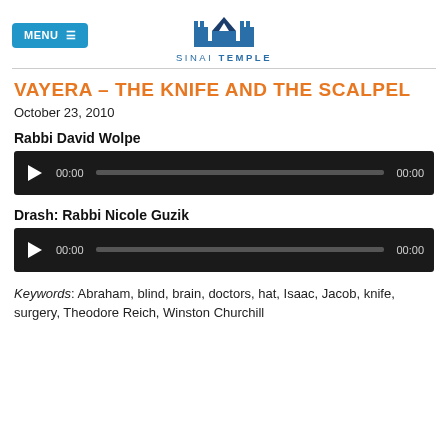[Figure (logo): Sinai Temple logo with stylized blue temple/building icon above the text 'SINAI TEMPLE']
VAYERA – THE KNIFE AND THE SCALPEL
October 23, 2010
Rabbi David Wolpe
[Figure (other): Audio player widget with play button, 00:00 timestamp, progress bar, and 00:00 end time on dark background]
Drash: Rabbi Nicole Guzik
[Figure (other): Audio player widget with play button, 00:00 timestamp, progress bar, and 00:00 end time on dark background]
Keywords: Abraham, blind, brain, doctors, hat, Isaac, Jacob, knife, surgery, Theodore Reich, Winston Churchill